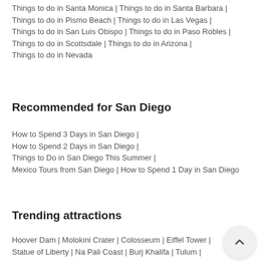Things to do in Santa Monica | Things to do in Santa Barbara | Things to do in Pismo Beach | Things to do in Las Vegas | Things to do in San Luis Obispo | Things to do in Paso Robles | Things to do in Scottsdale | Things to do in Arizona | Things to do in Nevada
Recommended for San Diego
How to Spend 3 Days in San Diego | How to Spend 2 Days in San Diego | Things to Do in San Diego This Summer | Mexico Tours from San Diego | How to Spend 1 Day in San Diego
Trending attractions
Hoover Dam | Molokini Crater | Colosseum | Eiffel Tower | Statue of Liberty | Na Pali Coast | Burj Khalifa | Tulum |